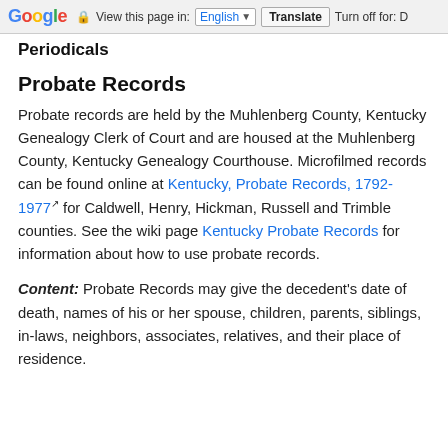Google | View this page in: English [▼] | Translate | Turn off for: D
Periodicals
Probate Records
Probate records are held by the Muhlenberg County, Kentucky Genealogy Clerk of Court and are housed at the Muhlenberg County, Kentucky Genealogy Courthouse. Microfilmed records can be found online at Kentucky, Probate Records, 1792-1977 for Caldwell, Henry, Hickman, Russell and Trimble counties. See the wiki page Kentucky Probate Records for information about how to use probate records.
Content: Probate Records may give the decedent's date of death, names of his or her spouse, children, parents, siblings, in-laws, neighbors, associates, relatives, and their place of residence.